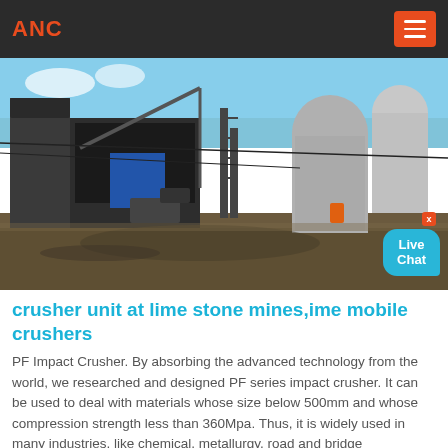ANC
[Figure (photo): Industrial stone crusher / mining plant facility with large silos, machinery, conveyor structures and muddy ground in foreground]
crusher unit at lime stone mines,ime mobile crushers
PF Impact Crusher. By absorbing the advanced technology from the world, we researched and designed PF series impact crusher. It can be used to deal with materials whose size below 500mm and whose compression strength less than 360Mpa. Thus, it is widely used in many industries, like chemical, metallurgy, road and bridge construction and sand ...